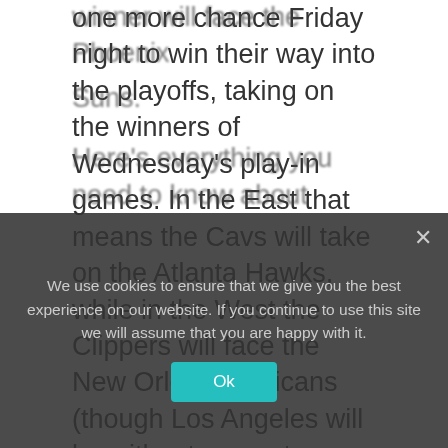one more chance Friday night to win their way into the playoffs, taking on the winners of Wednesday's play-in games. In the East that means the Cavs will take on the Atlanta Hawks, while in the West the Clippers will face the New Orleans Pelicans (though Los Angeles will be without superstar Paul George who has entered the NBA's health and safety protocols).
The Cavs and Hawks game is set for 7:30 pm ET (4:30 pm PT) on ESPN with the winner facing the Miami Heat. The Clippers and
Suns.
Here's everything you need to know about
We use cookies to ensure that we give you the best experience on our website. If you continue to use this site we will assume that you are happy with it.